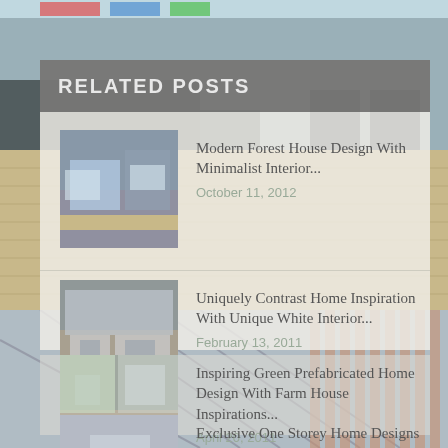RELATED POSTS
Modern Forest House Design With Minimalist Interior...
October 11, 2012
Uniquely Contrast Home Inspiration With Unique White Interior...
February 13, 2011
Inspiring Green Prefabricated Home Design With Farm House Inspirations...
April 20, 2011
Exclusive One Storey Home Designs With Dark Exterior Plans...
April 26, 2011